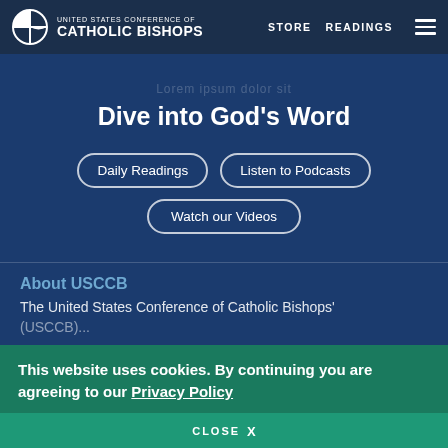United States Conference of Catholic Bishops — STORE  READINGS
Dive into God's Word
Daily Readings
Listen to Podcasts
Watch our Videos
About USCCB
The United States Conference of Catholic Bishops' (USCCB)...
This website uses cookies. By continuing you are agreeing to our Privacy Policy
CLOSE  X